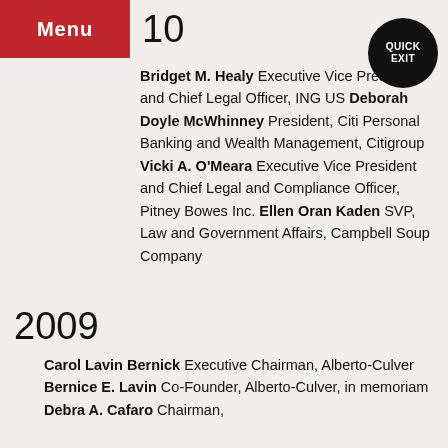Menu
10
Bridget M. Healy Executive Vice President and Chief Legal Officer, ING US Deborah Doyle McWhinney President, Citi Personal Banking and Wealth Management, Citigroup Vicki A. O'Meara Executive Vice President and Chief Legal and Compliance Officer, Pitney Bowes Inc. Ellen Oran Kaden SVP, Law and Government Affairs, Campbell Soup Company
2009
Carol Lavin Bernick Executive Chairman, Alberto-Culver Bernice E. Lavin Co-Founder, Alberto-Culver, in memoriam Debra A. Cafaro Chairman,